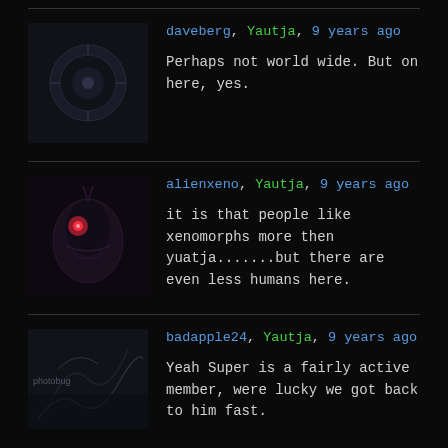daveberg, Yautja, 9 years ago
Perhaps not world wide. But on here, yes.
alienxeno, Yautja, 9 years ago
it is that people like xenomorphs more then yuatja.......but there are even less humans here.
badapple24, Yautja, 9 years ago
Yeah Super is a fairly active member, were lucky we got back to him fast.